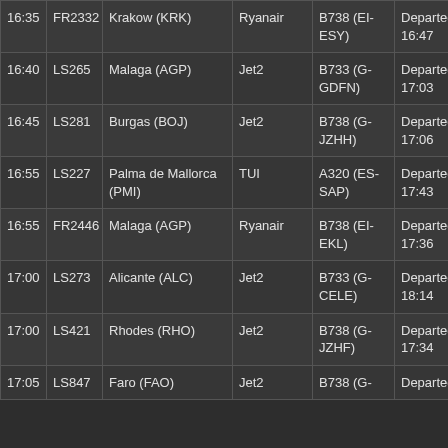| Time | Flight | Destination | Airline | Aircraft | Status |
| --- | --- | --- | --- | --- | --- |
| 16:35 | FR2332 | Krakow (KRK) | Ryanair | B738 (EI-ESY) | Departed 16:47 |
| 16:40 | LS265 | Malaga (AGP) | Jet2 | B733 (G-GDFN) | Departed 17:03 |
| 16:45 | LS281 | Burgas (BOJ) | Jet2 | B738 (G-JZHH) | Departed 17:06 |
| 16:55 | LS227 | Palma de Mallorca (PMI) | TUI | A320 (ES-SAP) | Departed 17:43 |
| 16:55 | FR2446 | Malaga (AGP) | Ryanair | B738 (EI-EKL) | Departed 17:36 |
| 17:00 | LS273 | Alicante (ALC) | Jet2 | B733 (G-CELE) | Departed 18:14 |
| 17:00 | LS421 | Rhodes (RHO) | Jet2 | B738 (G-JZHF) | Departed 17:34 |
| 17:05 | LS847 | Faro (FAO) | Jet2 | B738 (G-... | Departed ... |